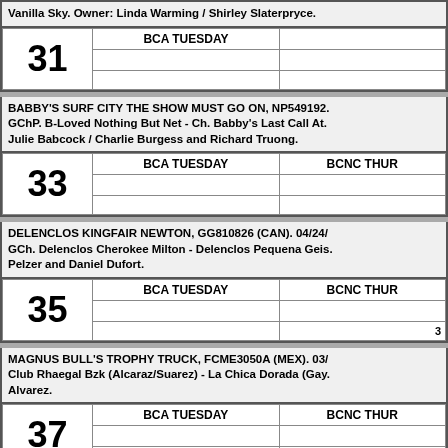Vanilla Sky. Owner: Linda Warming / Shirley Slaterpryce.
| 31 | BCA TUESDAY |  |
| --- | --- | --- |
|  |  |  |
|  |  |  |
BABBY'S SURF CITY THE SHOW MUST GO ON, NP549192. GChP. B-Loved Nothing But Net - Ch. Babby's Last Call At. Julie Babcock / Charlie Burgess and Richard Truong.
| 33 | BCA TUESDAY | BCNC THUR |
| --- | --- | --- |
|  |  |  |
|  |  |  |
DELENCLOS KINGFAIR NEWTON, GG810826 (CAN). 04/24/. GCh. Delenclos Cherokee Milton - Delenclos Pequena Geis. Pelzer and Daniel Dufort.
| 35 | BCA TUESDAY | BCNC THUR |
| --- | --- | --- |
|  |  |  |
|  |  | 3 |
MAGNUS BULL'S TROPHY TRUCK, FCME3050A (MEX). 03/. Club Rhaegal Bzk (Alcaraz/Suarez) - La Chica Dorada (Gay. Alvarez.
| 37 | BCA TUESDAY | BCNC THUR |
| --- | --- | --- |
|  |  |  |
|  |  | ABS |
JWILSON'S DON'T BRING ME DOWN, NP54669002. 04/17/2. Axlman - Ch. Jwilson's Notorius P.i.g.. Owner: Joel & Cind